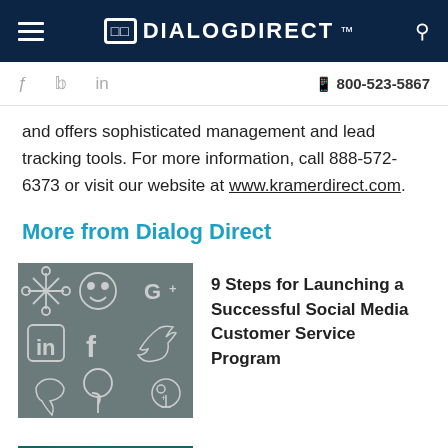DIALOGDIRECT
f  Twitter  in  📱 800-523-5867
and offers sophisticated management and lead tracking tools. For more information, call 888-572-6373 or visit our website at www.kramerdirect.com.
More from Dialog Direct
[Figure (illustration): Gray background with white outline drawings of social media icons including a flower/asterisk, smiley face, G+, LinkedIn, Facebook, Twitter/bird, Pinterest, and other social icons.]
9 Steps for Launching a Successful Social Media Customer Service Program
[Figure (photo): Teal/dark blue textured background (partially visible at bottom of page).]
B2B Appointment Setters are